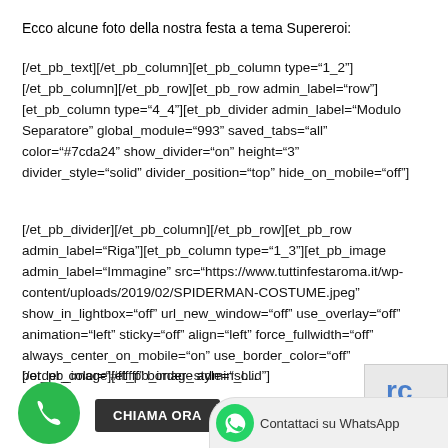Ecco alcune foto della nostra festa a tema Supereroi:
[/et_pb_text][/et_pb_column][et_pb_column type="1_2"][/et_pb_column][/et_pb_row][et_pb_row admin_label="row"][et_pb_column type="4_4"][et_pb_divider admin_label="Modulo Separatore" global_module="993" saved_tabs="all" color="#7cda24" show_divider="on" height="3" divider_style="solid" divider_position="top" hide_on_mobile="off"]
[/et_pb_divider][/et_pb_column][/et_pb_row][et_pb_row admin_label="Riga"][et_pb_column type="1_3"][et_pb_image admin_label="Immagine" src="https://www.tuttinfestaroma.it/wp-content/uploads/2019/02/SPIDERMAN-COSTUME.jpeg" show_in_lightbox="off" url_new_window="off" use_overlay="off" animation="left" sticky="off" align="left" force_fullwidth="off" always_center_on_mobile="on" use_border_color="off" border_color="#ffffff" border_style="solid"]
[/et_pb_image][et_pb_image admin_l...
[Figure (screenshot): Phone call button (green circle with phone icon), CHIAMA ORA dark button, reCAPTCHA logo, and WhatsApp contact bar at the bottom of the page]